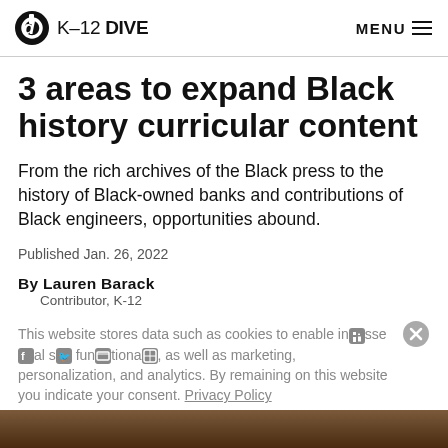K-12 DIVE  MENU
3 areas to expand Black history curricular content
From the rich archives of the Black press to the history of Black-owned banks and contributions of Black engineers, opportunities abound.
Published Jan. 26, 2022
By Lauren Barack
    Contributor, K-12
This website stores data such as cookies to enable essential site functionality, as well as marketing, personalization, and analytics. By remaining on this website you indicate your consent. Privacy Policy
[Figure (photo): Dark brown background strip at the bottom of the page, appearing to be the top edge of an article photo]